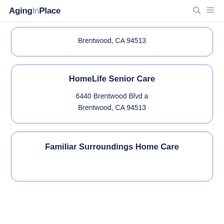AgingInPlace
Brentwood, CA 94513
HomeLife Senior Care
6440 Brentwood Blvd a
Brentwood, CA 94513
Familiar Surroundings Home Care